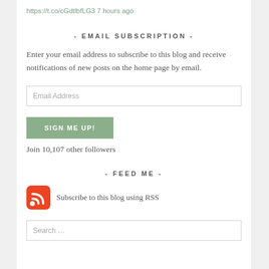https://t.co/cGdtlbfLG3 7 hours ago
- EMAIL SUBSCRIPTION -
Enter your email address to subscribe to this blog and receive notifications of new posts on the home page by email.
Join 10,107 other followers
- FEED ME -
Subscribe to this blog using RSS